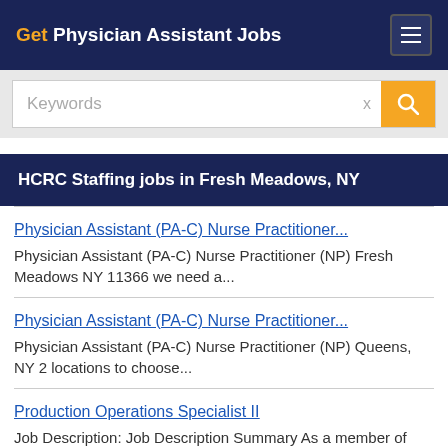Get Physician Assistant Jobs
Keywords
HCRC Staffing jobs in Fresh Meadows, NY
Physician Assistant (PA-C) Nurse Practitioner... Physician Assistant (PA-C) Nurse Practitioner (NP) Fresh Meadows NY 11366 we need a...
Physician Assistant (PA-C) Nurse Practitioner... Physician Assistant (PA-C) Nurse Practitioner (NP) Queens, NY 2 locations to choose...
Production Operations Specialist II Job Description: Job Description Summary As a member of Distributed Environment Servi...